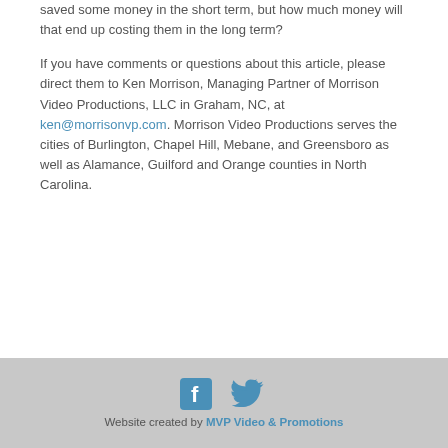saved some money in the short term, but how much money will that end up costing them in the long term?
If you have comments or questions about this article, please direct them to Ken Morrison, Managing Partner of Morrison Video Productions, LLC in Graham, NC, at ken@morrisonvp.com. Morrison Video Productions serves the cities of Burlington, Chapel Hill, Mebane, and Greensboro as well as Alamance, Guilford and Orange counties in North Carolina.
Website created by MVP Video & Promotions